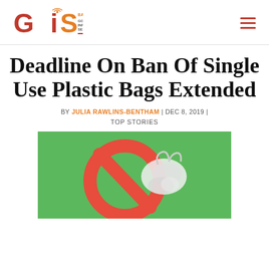[Figure (logo): Barbados Government Information Service logo with 'GIS' text in red/orange and wifi signal icon, alongside text 'BARBADOS GOVERNMENT INFORMATION SERVICE']
Deadline On Ban Of Single Use Plastic Bags Extended
BY JULIA RAWLINS-BENTHAM | DEC 8, 2019 | TOP STORIES
[Figure (photo): Photo showing green background with red no-symbol (circle with diagonal line) and a plastic bag, representing the ban on single use plastic bags]